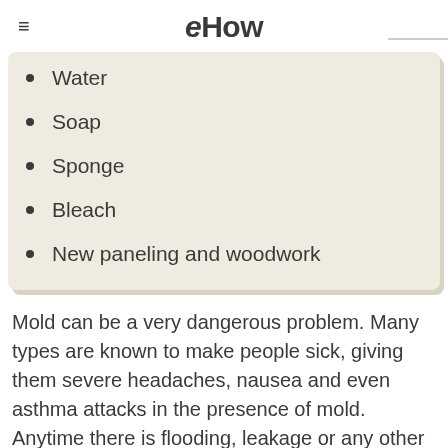eHow
Water
Soap
Sponge
Bleach
New paneling and woodwork
Mold can be a very dangerous problem. Many types are known to make people sick, giving them severe headaches, nausea and even asthma attacks in the presence of mold. Anytime there is flooding, leakage or any other situation that causes a paneled wall to